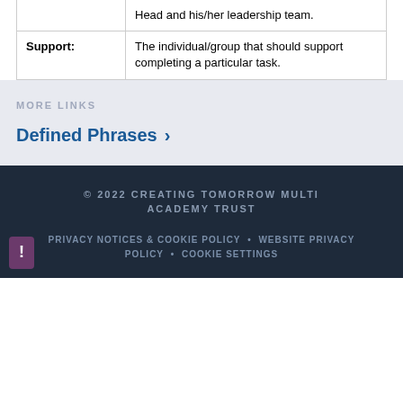|  | Head and his/her leadership team. |
| Support: | The individual/group that should support completing a particular task. |
MORE LINKS
Defined Phrases ›
© 2022 CREATING TOMORROW MULTI ACADEMY TRUST
PRIVACY NOTICES & COOKIE POLICY • WEBSITE PRIVACY POLICY • COOKIE SETTINGS